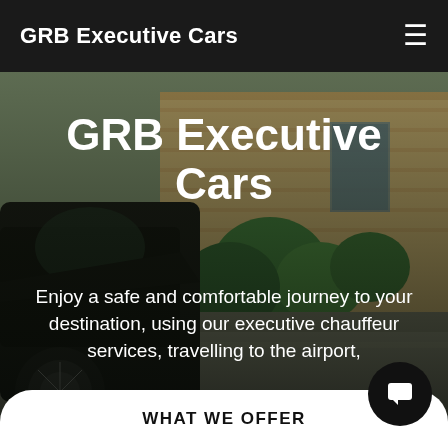GRB Executive Cars
[Figure (photo): Dark luxury executive car parked in front of a stone building with greenery, photographed from a low angle. The image serves as a hero background for the GRB Executive Cars website.]
GRB Executive Cars
Enjoy a safe and comfortable journey to your destination, using our executive chauffeur services, travelling to the airport,
WHAT WE OFFER